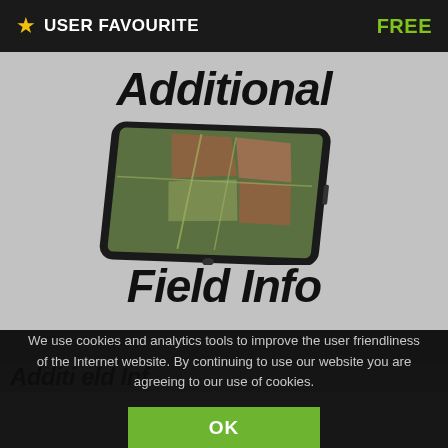★ USER FAVOURITE    FREE
[Figure (screenshot): App store screenshot showing 'Additional Field Info' app with bold italic title text and a tablet displaying a satellite map of agricultural fields]
Additi...eld Inf
We use cookies and analytics tools to improve the user friendliness of the Internet website. By continuing to use our website you are agreeing to our use of cookies.
OK